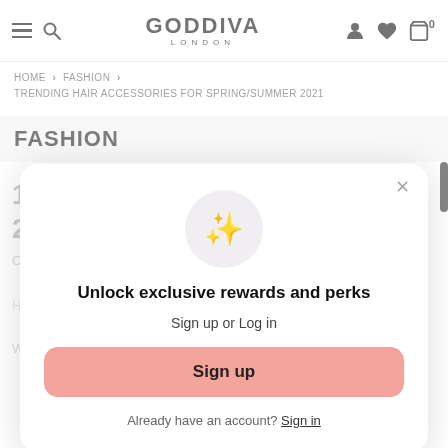GODDIVA LONDON — site header with hamburger, search, logo, account, wishlist, cart (0)
HOME > FASHION >
TRENDING HAIR ACCESSORIES FOR SPRING/SUMMER 2021
FASHION
[Figure (screenshot): Modal popup overlay on Goddiva London website prompting user to sign up or log in to unlock exclusive rewards and perks. Contains a sparkle emoji icon, bold heading, subheading, pink Sign up button, and a 'Already have an account? Sign in' link.]